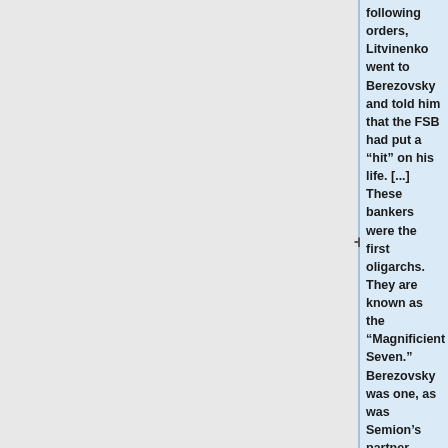following orders, Litvinenko went to Berezovsky and told him that the FSB had put a “hit” on his life. [...] These bankers were the first oligarchs. They are known as the “Magnificient Seven.” Berezovsky was one, as was Semion’s partner Mikhail Fridman – the founder of AlfaBank. We believe that the